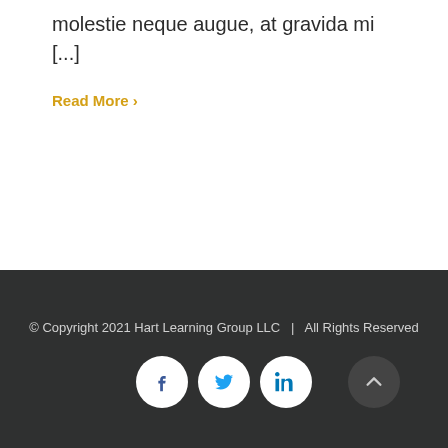molestie neque augue, at gravida mi [...]
Read More >
© Copyright 2021 Hart Learning Group LLC   |   All Rights Reserved